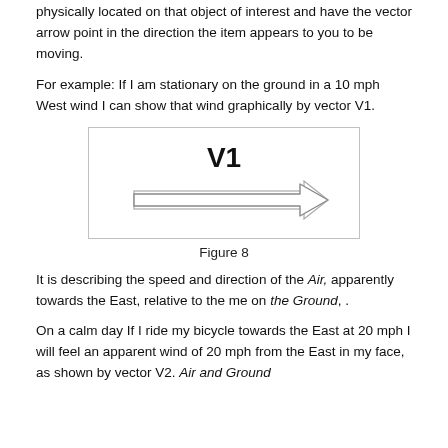physically located on that object of interest and have the vector arrow point in the direction the item appears to you to be moving.
For example: If I am stationary on the ground in a 10 mph West wind I can show that wind graphically by vector V1.
[Figure (illustration): A labeled vector diagram showing a rightward-pointing arrow labeled V1 inside a bordered box.]
Figure 8
It is describing the speed and direction of the Air, apparently towards the East, relative to the me on the Ground, .
On a calm day If I ride my bicycle towards the East at 20 mph I will feel an apparent wind of 20 mph from the East in my face, as shown by vector V2. Air and Ground